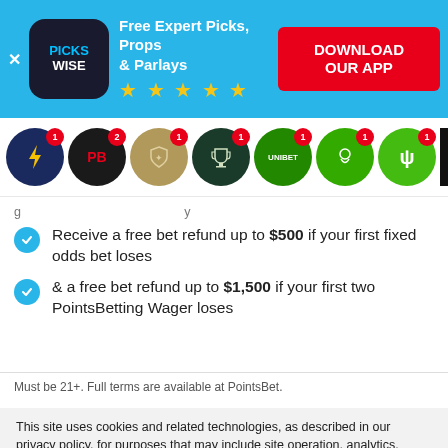[Figure (screenshot): Pickswise app promotional banner with logo, star rating, and Download Our App button on blue background]
[Figure (screenshot): Row of sportsbook app icons with notification badges: lightning bolt (dark blue), PB (dark), trophy shield (tan), trophy cup (dark green), Unibet (green), Primobet (green), dollar sign (green), and one more partially visible]
Receive a free bet refund up to $500 if your first fixed odds bet loses
& a free bet refund up to $1,500 if your first two PointsBetting Wager loses
Must be 21+. Full terms are available at PointsBet.
This site uses cookies and related technologies, as described in our privacy policy, for purposes that may include site operation, analytics, enhanced user experience, or advertising. You may choose to consent to our use of these technologies, or manage your own preferences.